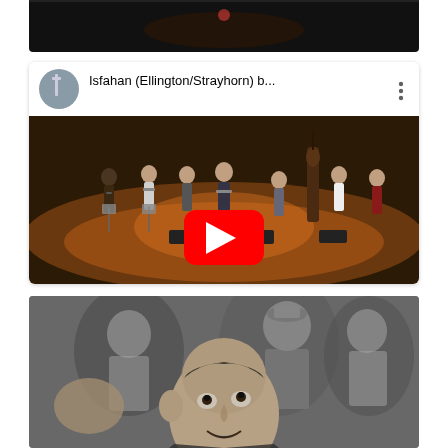[Figure (screenshot): Top portion of a dark video thumbnail showing a partial concert scene, cropped at bottom of frame]
[Figure (screenshot): YouTube video thumbnail for 'Isfahan (Ellington/Strayhorn) b...' showing a jazz ensemble on a concert stage with musicians playing woodwind and brass instruments, with a YouTube play button overlay. The video header shows a circular avatar of a musician and the video title with a three-dot menu icon.]
[Figure (photo): Black and white photograph showing a close-up of a man looking upward in the foreground (likely Duke Ellington or a jazz musician), with other figures visible in the background]